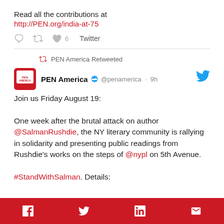Read all the contributions at http://PEN.org/india-at-75
PEN America Retweeted
PEN America @penamerica · 9h
Join us Friday August 19:

One week after the brutal attack on author @SalmanRushdie, the NY literary community is rallying in solidarity and presenting public readings from Rushdie's works on the steps of @nypl on 5th Avenue.

#StandWithSalman. Details:
f  [twitter]  in  [email]